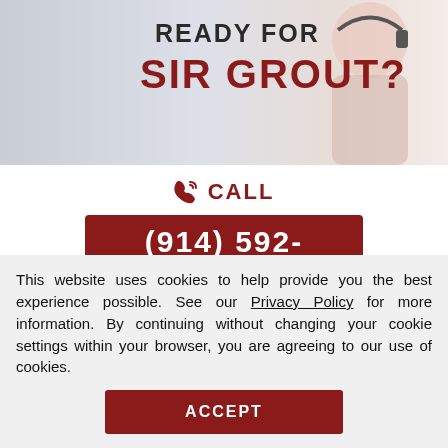[Figure (photo): Hero banner image for Sir Grout with text 'READY FOR SIR GROUT?' overlaid, showing a smiling person with a headset in the background]
CALL
(914) 592-
OR  CLICK HERE TO SCHEDULE A FREE QUOTE
Sandless Wood Refinishing
This website uses cookies to help provide you the best experience possible. See our Privacy Policy for more information. By continuing without changing your cookie settings within your browser, you are agreeing to our use of cookies.
ACCEPT